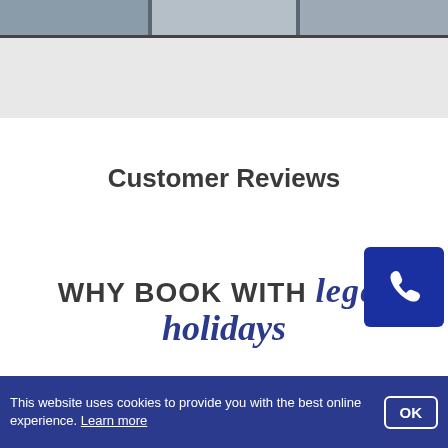[Figure (photo): Top image bar showing a partial photograph (cars/street scene)]
Customer Reviews
WHY BOOK WITH leger holidays
[Figure (photo): Avatar/profile photo circle and Excellent customer care text with blue CTA button]
Excellent customer care
This website uses cookies to provide you with the best online experience. Learn more